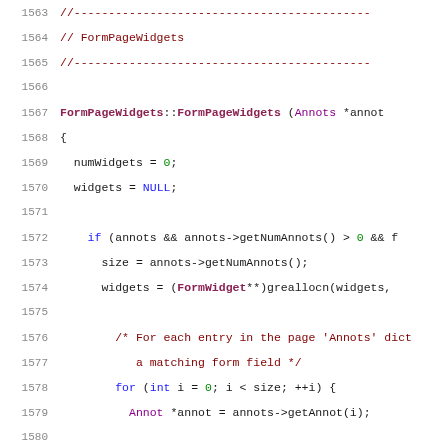[Figure (screenshot): Source code listing showing C++ code for FormPageWidgets class constructor, lines 1563-1584, with syntax highlighting. Comments in dark red, keywords in blue, class names in purple, numbers in green, plain code in dark gray.]